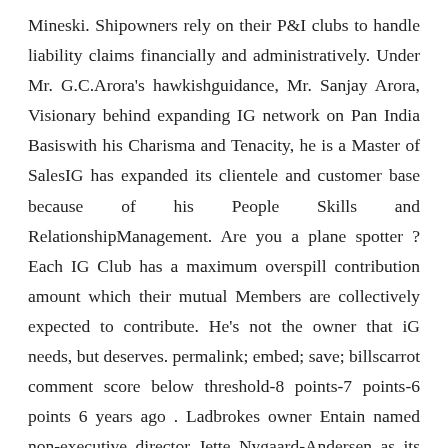Mineski. Shipowners rely on their P&I clubs to handle liability claims financially and administratively. Under Mr. G.C.Arora's hawkishguidance, Mr. Sanjay Arora, Visionary behind expanding IG network on Pan India Basiswith his Charisma and Tenacity, he is a Master of SalesIG has expanded its clientele and customer base because of his People Skills and RelationshipManagement. Are you a plane spotter ? Each IG Club has a maximum overspill contribution amount which their mutual Members are collectively expected to contribute. He's not the owner that iG needs, but deserves. permalink; embed; save; billscarrot comment score below threshold-8 points-7 points-6 points 6 years ago . Ladbrokes owner Entain named non-executive director Jette Nygaard-Andersen as its top boss on Thursday, making her the first woman to hold such a role in the UK gambling industry. DE268236811 What...